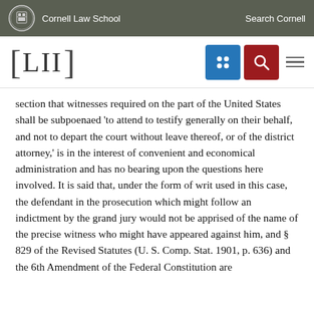Cornell Law School  Search Cornell
[LII]
section that witnesses required on the part of the United States shall be subpoenaed 'to attend to testify generally on their behalf, and not to depart the court without leave thereof, or of the district attorney,' is in the interest of convenient and economical administration and has no bearing upon the questions here involved. It is said that, under the form of writ used in this case, the defendant in the prosecution which might follow an indictment by the grand jury would not be apprised of the name of the precise witness who might have appeared against him, and § 829 of the Revised Statutes (U. S. Comp. Stat. 1901, p. 636) and the 6th Amendment of the Federal Constitution are